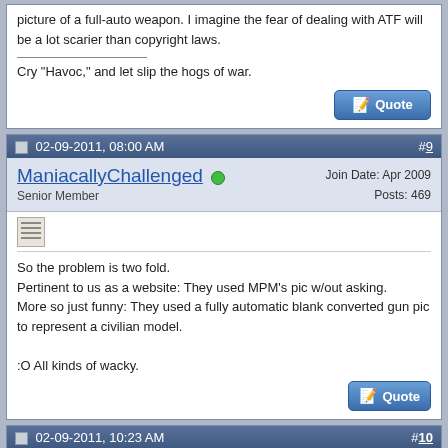picture of a full-auto weapon. I imagine the fear of dealing with ATF will be a lot scarier than copyright laws.

Cry "Havoc," and let slip the hogs of war.
02-09-2011, 08:00 AM  #9
ManiacallyChallenged  Senior Member  Join Date: Apr 2009  Posts: 469
So the problem is two fold.
Pertinent to us as a website: They used MPM's pic w/out asking.
More so just funny: They used a fully automatic blank converted gun pic to represent a civilian model.

:O All kinds of wacky.
02-09-2011, 10:23 AM  #10
ersoz  Senior Member  Join Date: Jan 2011  Location: Istanbul, TR  Posts: 155